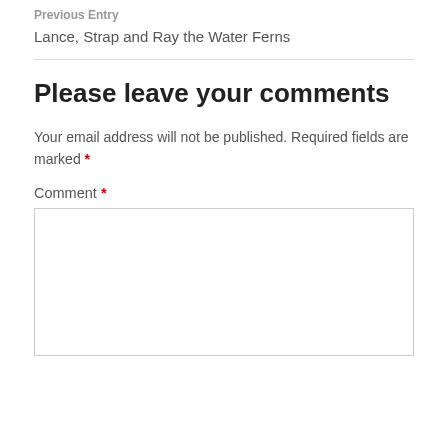Previous Entry
Lance, Strap and Ray the Water Ferns
Please leave your comments
Your email address will not be published. Required fields are marked *
Comment *